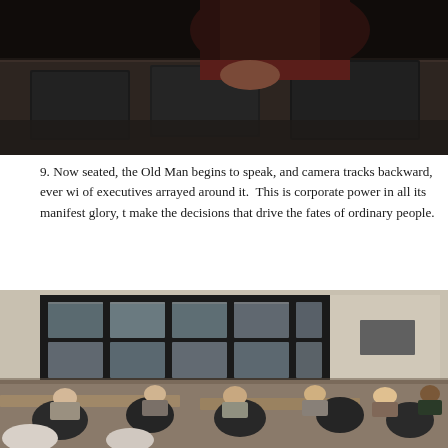[Figure (photo): Close-up photo of a person's hands at a conference table with dark binders/folders, dark reddish-brown clothing visible]
9. Now seated, the Old Man begins to speak, and camera tracks backward, ever wi of executives arrayed around it.  This is corporate power in all its manifest glory, t make the decisions that drive the fates of ordinary people.
[Figure (photo): Photo of a large corporate meeting room with a wall of television monitors in a grid arrangement, and executives/employees seated at desks facing the screens]